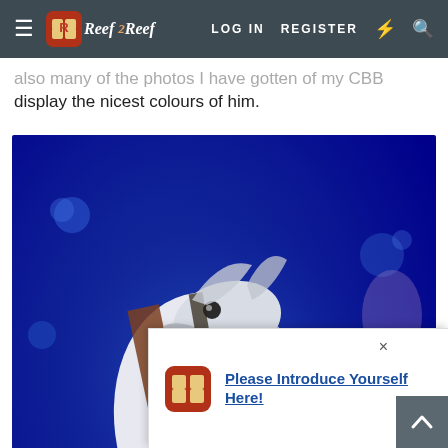≡  Reef2Reef   LOG IN   REGISTER   ⚡   🔍
also many of the photos I have gotten of my CBB display the nicest colours of him.
[Figure (photo): Close-up underwater photo of a Copperband Butterflyfish (CBB) with striking white and brown/orange vertical stripes and yellow accents, set against a vivid blue aquarium background with soft coral and jellyfish visible in background.]
[Figure (photo): Partial view of another fish photo at the bottom of the page, showing blue water and orange/yellow coloring of a fish.]
Please Introduce Yourself Here!